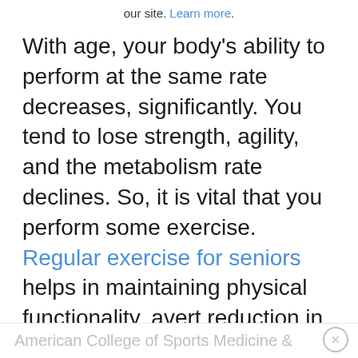our site. Learn more.
With age, your body's ability to perform at the same rate decreases, significantly. You tend to lose strength, agility, and the metabolism rate declines. So, it is vital that you perform some exercise. Regular exercise for seniors helps in maintaining physical functionality, avert reduction in cognitive functions, and decreases the chances of physical injuries. Physical exercise will help you to maintain your quality of life. According to studies by the
American College of Sports Medicine &